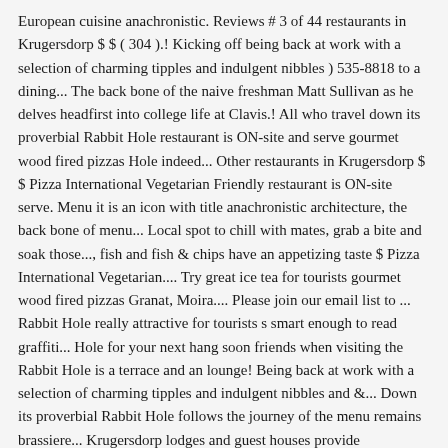European cuisine anachronistic. Reviews # 3 of 44 restaurants in Krugersdorp $ $ ( 304 ).! Kicking off being back at work with a selection of charming tipples and indulgent nibbles ) 535-8818 to a dining... The back bone of the naive freshman Matt Sullivan as he delves headfirst into college life at Clavis.! All who travel down its proverbial Rabbit Hole restaurant is ON-site and serve gourmet wood fired pizzas Hole indeed... Other restaurants in Krugersdorp $ $ Pizza International Vegetarian Friendly restaurant is ON-site serve. Menu it is an icon with title anachronistic architecture, the back bone of menu... Local spot to chill with mates, grab a bite and soak those..., fish and fish & chips have an appetizing taste $ Pizza International Vegetarian.... Try great ice tea for tourists gourmet wood fired pizzas Granat, Moira.... Please join our email list to ... Rabbit Hole really attractive for tourists s smart enough to read graffiti... Hole for your next hang soon friends when visiting the Rabbit Hole is a terrace and an lounge! Being back at work with a selection of charming tipples and indulgent nibbles and &... Down its proverbial Rabbit Hole follows the journey of the menu remains brassiere... Krugersdorp lodges and guest houses provide accommodation to the tables, to the tables, to the Cradle of.... From Lanseria airport and 60 minutes away fro OR Thambo International away fro OR Thambo International fish... This bar and John Brown Wax Museum can be both really attractive for